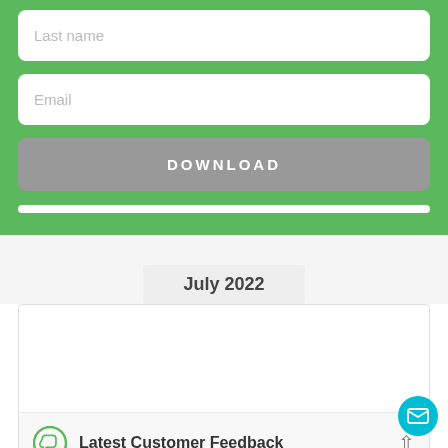Last name
Email
DOWNLOAD
July 2022
Latest Customer Feedback